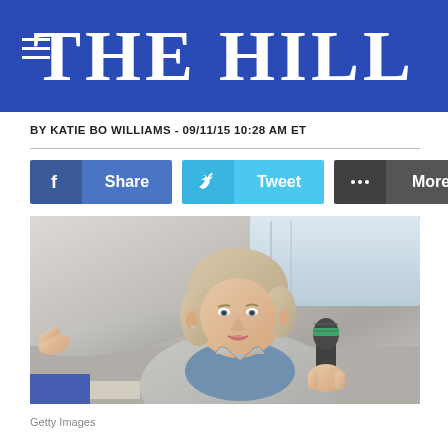THE HILL
BY KATIE BO WILLIAMS - 09/11/15 10:28 AM ET
[Figure (other): Social sharing buttons: Facebook Share, Twitter Tweet, More]
[Figure (photo): Hillary Clinton speaking at a campaign event, holding a microphone and pointing with her left hand, wearing a grey blazer over a blue top. Background shows an indoor venue.]
Getty Images